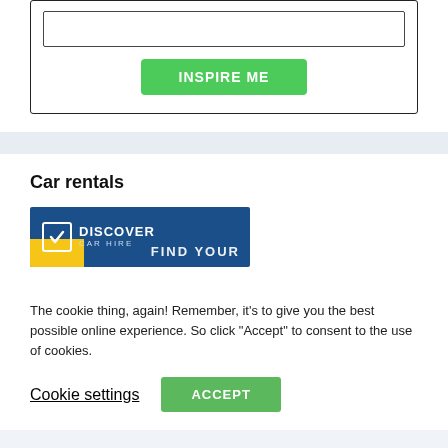[Figure (screenshot): White form box with an empty text input field and a green 'INSPIRE ME' button]
Car rentals
[Figure (logo): Discover Car Hire banner with blue background, yellow accent, logo with checkmark, and 'FIND YOUR' text]
The cookie thing, again! Remember, it's to give you the best possible online experience. So click "Accept" to consent to the use of cookies.
Cookie settings
ACCEPT